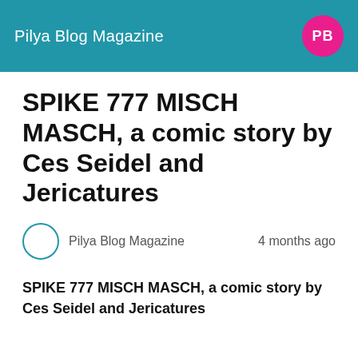Pilya Blog Magazine
SPIKE 777 MISCH MASCH, a comic story by Ces Seidel and Jericatures
Pilya Blog Magazine   4 months ago
SPIKE 777 MISCH MASCH, a comic story by Ces Seidel and Jericatures